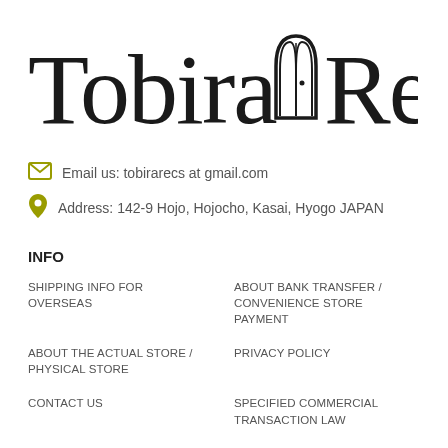[Figure (logo): Tobira Records logo in decorative serif font with a stylized door/arch symbol between the two words]
Email us: tobirarecs at gmail.com
Address: 142-9 Hojo, Hojocho, Kasai, Hyogo JAPAN
INFO
SHIPPING INFO FOR OVERSEAS
ABOUT BANK TRANSFER / CONVENIENCE STORE PAYMENT
ABOUT THE ACTUAL STORE / PHYSICAL STORE
PRIVACY POLICY
CONTACT US
SPECIFIED COMMERCIAL TRANSACTION LAW